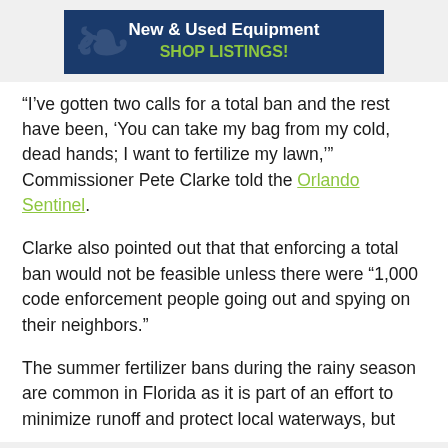[Figure (infographic): Dark blue banner advertisement with white text 'New & Used Equipment' and green text 'SHOP LISTINGS!' on a navy background with a faint watermark logo on the left.]
“I’ve gotten two calls for a total ban and the rest have been, ‘You can take my bag from my cold, dead hands; I want to fertilize my lawn,’” Commissioner Pete Clarke told the Orlando Sentinel.
Clarke also pointed out that that enforcing a total ban would not be feasible unless there were “1,000 code enforcement people going out and spying on their neighbors.”
The summer fertilizer bans during the rainy season are common in Florida as it is part of an effort to minimize runoff and protect local waterways, but